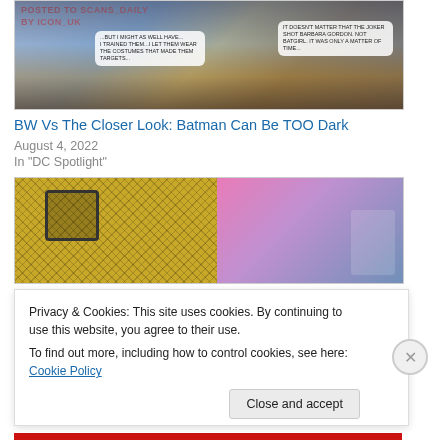[Figure (illustration): Comic book panel showing Batman and Superman characters with speech bubbles. Overlaid text reads 'POSTED TO SCANS_DAILY BY ICON_UK' in red pixelated font.]
BW Vs The Closer Look: Batman Can Be TOO Dark
August 4, 2022
In "DC Spotlight"
[Figure (illustration): Comic book related image split into two halves: left side shows a yellow crosshatch/dotscreen pattern with a face, right side shows a pink-toned image of a bespectacled man in a suit.]
Privacy & Cookies: This site uses cookies. By continuing to use this website, you agree to their use.
To find out more, including how to control cookies, see here: Cookie Policy
Close and accept